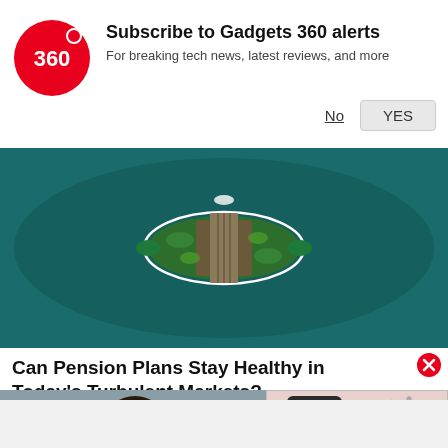[Figure (logo): Gadgets 360 circular red logo with '360' text]
Subscribe to Gadgets 360 alerts
For breaking tech news, latest reviews, and more
No   YES
[Figure (photo): Aerial top-down view of a boat-shaped garden island structure surrounded by dark teal water]
Can Pension Plans Stay Healthy in Today’s Turbulent Markets?
WSJ | Principal | Sponsored
[Figure (photo): Photo of a person with curly hair]
[Figure (screenshot): Smartphone product image with red video play button overlay]